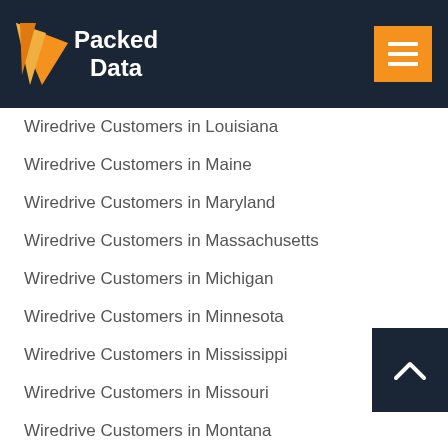Packed Data
Wiredrive Customers in Louisiana
Wiredrive Customers in Maine
Wiredrive Customers in Maryland
Wiredrive Customers in Massachusetts
Wiredrive Customers in Michigan
Wiredrive Customers in Minnesota
Wiredrive Customers in Mississippi
Wiredrive Customers in Missouri
Wiredrive Customers in Montana
Wiredrive Customers in Nebraska
Wiredrive Customers in Nevada
Wiredrive Customers in New Hampshire
Wiredrive Customers in New Jersey
Wiredrive Customers in New Mexico